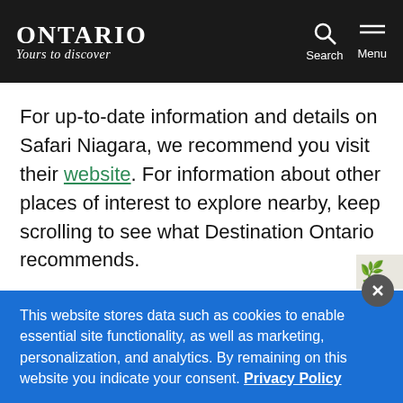Ontario Yours to Discover | Search | Menu
For up-to-date information and details on Safari Niagara, we recommend you visit their website. For information about other places of interest to explore nearby, keep scrolling to see what Destination Ontario recommends.
This website stores data such as cookies to enable essential site functionality, as well as marketing, personalization, and analytics. By remaining on this website you indicate your consent. Privacy Policy